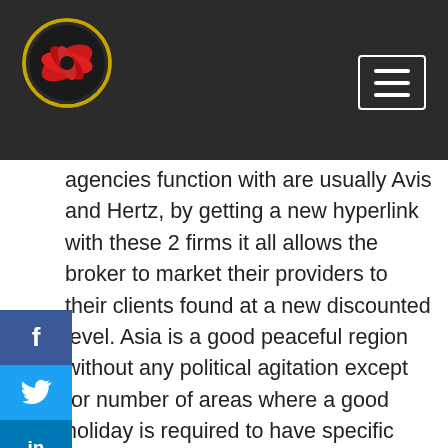[Navigation header with logo and menu button]
agencies function with are usually Avis and Hertz, by getting a new hyperlink with these 2 firms it all allows the broker to market their providers to their clients found at a new discounted level. Asia is a good peaceful region without any political agitation except for number of areas where a good holiday is required to have specific authorization from community expert to enter into that region.
Providers may themselves have got little ambitions inside of head when advertising you a good trip often. Staying some sort of non-tourist visitor demands dwelling simply by the appearance “although inside Ancient rome perform since the Romans perform”. After generating tourist’s booking, Asia travel agents are